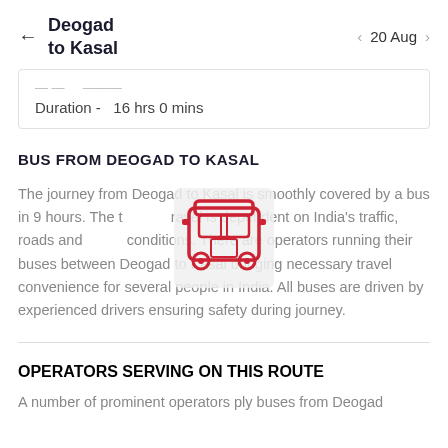Deogad to Kasal   20 Aug
| Duration - | 16 hrs 0 mins |
BUS FROM DEOGAD TO KASAL
The journey from Deogad to Kasal is smoothly covered by a bus in 9 hours. The time to travel is dependent on India's traffic, roads and climatic conditions. There are operators running their buses between Deogad to Kasal bringing necessary travel convenience for several people in India. All buses are driven by experienced drivers ensuring safety during journey.
[Figure (illustration): Red bus icon illustration overlaid on text]
OPERATORS SERVING ON THIS ROUTE
A number of prominent operators ply buses from Deogad